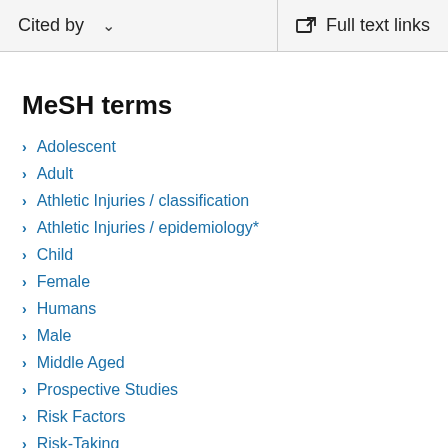Cited by   Full text links
MeSH terms
Adolescent
Adult
Athletic Injuries / classification
Athletic Injuries / epidemiology*
Child
Female
Humans
Male
Middle Aged
Prospective Studies
Risk Factors
Risk-Taking
Skiing / injuries*
Skiing / statistics & numerical data